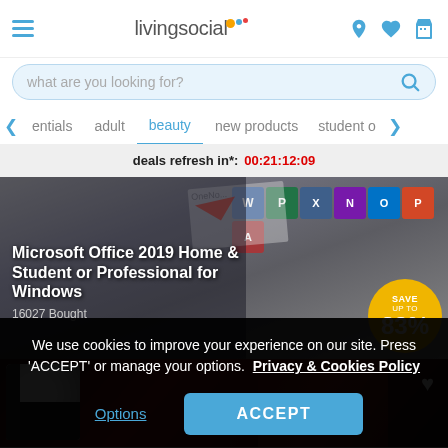[Figure (screenshot): LivingSocial website header with hamburger menu icon, logo, and navigation icons (location pin, heart, shopping basket)]
what are you looking for?
entials   adult   beauty   new products   student o
deals refresh in*: 00:21:12:09
[Figure (screenshot): Microsoft Office 2019 Home & Student or Professional for Windows product banner with app icons and 83% save badge. 16027 Bought.]
[Figure (photo): Person wearing a black and white raglan t-shirt against a dark red abstract background]
We use cookies to improve your experience on our site. Press 'ACCEPT' or manage your options.  Privacy & Cookies Policy
Options
ACCEPT